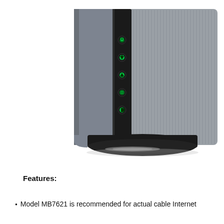[Figure (photo): A cable modem (Motorola MB7621) standing upright. The device is tall and narrow with a dark gray/charcoal textured body featuring ventilation slots on the right side. The front panel is black with five LED indicator lights (green): power icon, download arrow, upload arrow, globe/internet icon, and a link indicator. The modem sits on a rounded black base with a silver accent strip. The background is white.]
Features:
Model MB7621 is recommended for actual cable Internet